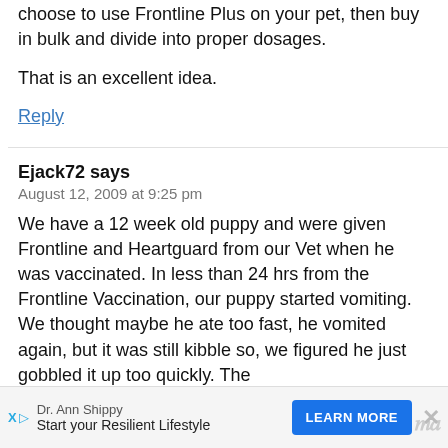choose to use Frontline Plus on your pet, then buy in bulk and divide into proper dosages.
That is an excellent idea.
Reply
Ejack72 says
August 12, 2009 at 9:25 pm
We have a 12 week old puppy and were given Frontline and Heartguard from our Vet when he was vaccinated. In less than 24 hrs from the Frontline Vaccination, our puppy started vomiting. We thought maybe he ate too fast, he vomited again, but it was still kibble so, we figured he just gobbled it up too quickly. The
Dr. Ann Shippy
Start your Resilient Lifestyle
LEARN MORE